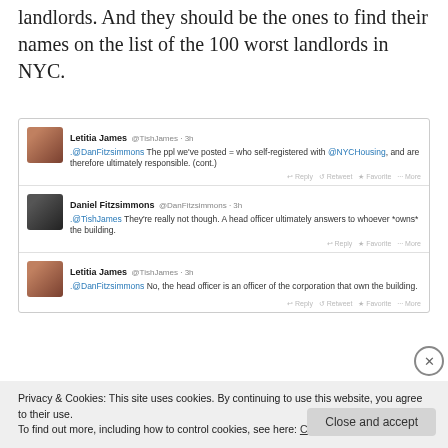landlords. And they should be the ones to find their names on the list of the 100 worst landlords in NYC.
[Figure (screenshot): Screenshot of a Twitter/social media conversation between Letitia James (@TishJames) and Daniel Fitzsimmons (@DanFitzsimmons). Three tweets shown: 1) Letitia James: '.@DanFitzsimmons The ppl we've posted = who self-registered with @NYCHousing, and are therefore ultimately responsible. (cont.)' 2) Daniel Fitzsimmons: '.@TishJames They're really not though. A head officer ultimately answers to whoever *owns* the building.' 3) Letitia James: '.@DanFitzsimmons No, the head officer is an officer of the corporation that own the building.']
Privacy & Cookies: This site uses cookies. By continuing to use this website, you agree to their use. To find out more, including how to control cookies, see here: Cookie Policy
Close and accept